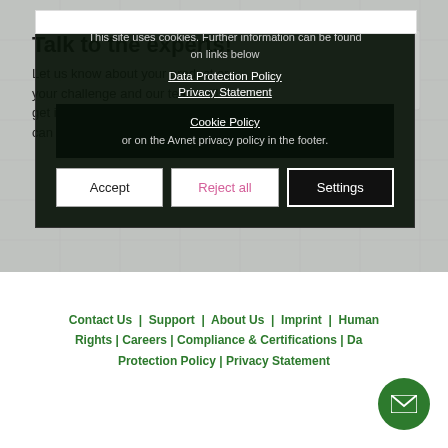[Figure (screenshot): Background area with engineering/circuit board imagery in grayscale]
Talk to the experts!
Let us know about your product or your challenge and our team will get in touch to discuss how we can help.
This site uses cookies. Further information can be found on links below
Data Protection Policy
Privacy Statement
Cookie Policy
or on the Avnet privacy policy in the footer.
Accept
Reject all
Settings
Contact Us  |  Support  |  About Us  |  Imprint  |  Human Rights | Careers | Compliance & Certifications | Data Protection Policy | Privacy Statement